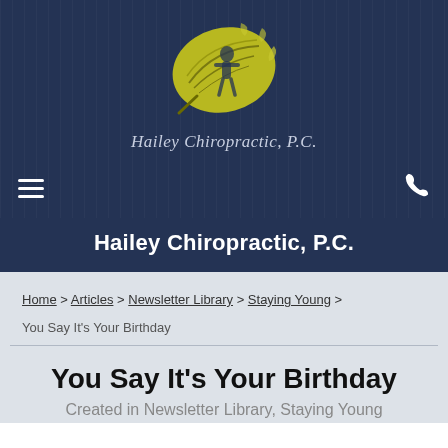[Figure (logo): Hailey Chiropractic P.C. logo: a yellow-green illustrated leaf with a silhouette of a person inside]
Hailey Chiropractic, P.C.
Hailey Chiropractic, P.C.
Home > Articles > Newsletter Library > Staying Young > You Say It's Your Birthday
You Say It's Your Birthday
You Say It's Your Birthday
Created in Newsletter Library, Staying Young